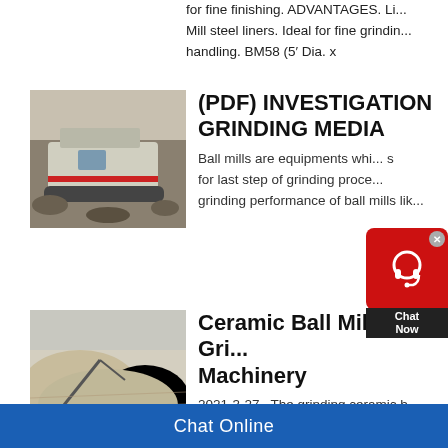for fine finishing. ADVANTAGES. Li... Mill steel liners. Ideal for fine grinding handling. BM58 (5' Dia. x
[Figure (photo): Heavy mining/crushing machine on tracks in a rocky quarry environment]
(PDF) INVESTIGATION GRINDING MEDIA
Ball mills are equipments which ... for last step of grinding proce... grinding performance of ball mills lik...
[Figure (photo): Aerial view of a quarry or mineral processing site with large piles of material and conveyor equipment]
Ceramic Ball Mill For Grinding Machinery
2021-3-27   The grinding ceramic b... ceramic liner types according to pro... needs. The finess of ceramic ball m... electro-hydraulic machine is auto-co...
Chat Online